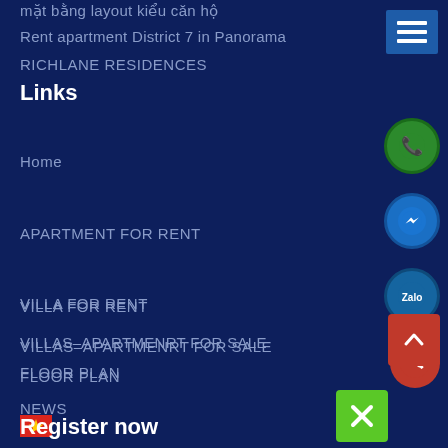mặt bằng layout kiểu căn hộ
Rent apartment District 7 in Panorama
RICHLANE RESIDENCES
Links
Home
APARTMENT FOR RENT
VILLA FOR RENT
FLOOR PLAN
VILLAS–APARTMENRT FOR SALE
NEWS
Contact Us
[Figure (other): Vietnamese flag emoji]
[Figure (other): South Korean flag emoji]
Register now
[Figure (other): Menu hamburger button top right]
[Figure (other): Green phone/WhatsApp circle button]
[Figure (other): Blue Facebook Messenger circle button]
[Figure (other): Blue Zalo circle button]
[Figure (other): Red phone circle button]
[Figure (other): Red scroll-up square button with chevron]
[Figure (other): Green close/X square button]